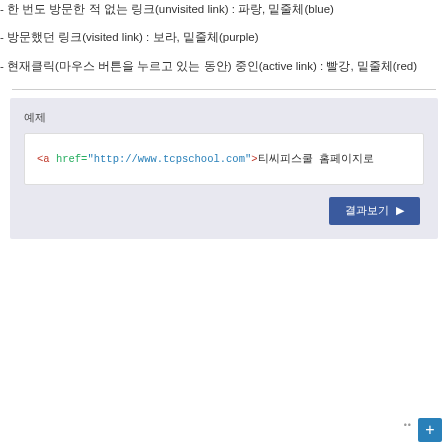- 한 번도 방문한 적 없는 링크(unvisited link) : 파랑, 밑줄체(blue)
- 방문했던 링크(visited link) : 보라, 밑줄체(purple)
- 현재클릭(마우스 버튼을 누르고 있는 동안) 중인(active link) : 빨강, 밑줄체(red)
예제
<a href="http://www.tcpschool.com">티씨피스쿨 홈페이지로